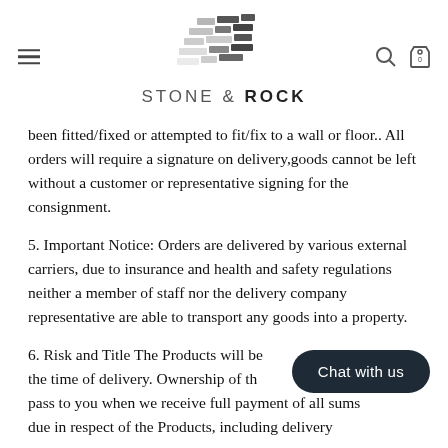STONE & ROCK
been fitted/fixed or attempted to fit/fix to a wall or floor.. All orders will require a signature on delivery,goods cannot be left without a customer or representative signing for the consignment.
5. Important Notice: Orders are delivered by various external carriers, due to insurance and health and safety regulations neither a member of staff nor the delivery company representative are able to transport any goods into a property.
6. Risk and Title The Products will be [obscured] the time of delivery. Ownership of th[obscured]nly pass to you when we receive full payment of all sums due in respect of the Products, including delivery